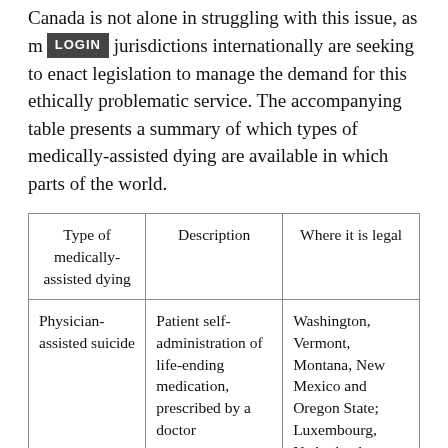Canada is not alone in struggling with this issue, as many jurisdictions internationally are seeking to enact legislation to manage the demand for this ethically problematic service. The accompanying table presents a summary of which types of medically-assisted dying are available in which parts of the world.
| Type of medically-assisted dying | Description | Where it is legal |
| --- | --- | --- |
| Physician-assisted suicide | Patient self-administration of life-ending medication, prescribed by a doctor | Washington, Vermont, Montana, New Mexico and Oregon State; Luxembourg, Netherlands, Switzerland, Belgium |
| Voluntary euthanasia | Patient requests a doctor to administer life-ending ... | Netherlands, Belgium, ... |